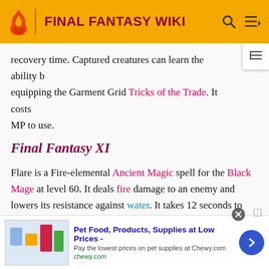FINAL FANTASY WIKI
recovery time. Captured creatures can learn the ability by equipping the Garment Grid Tricks of the Trade. It costs [X] MP to use.
Final Fantasy XI
Flare is a Fire-elemental Ancient Magic spell for the Black Mage at level 60. It deals fire damage to an enemy and lowers its resistance against water. It takes 12 seconds to cast and can be recast every 60 seconds. It costs 315 MP to cast.
Final Fantasy XII